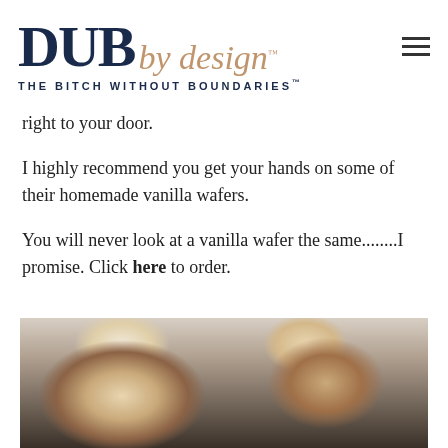DUB by design™ THE BITCH WITHOUT BOUNDARIES™
right to your door.
I highly recommend you get your hands on some of their homemade vanilla wafers.
You will never look at a vanilla wafer the same........I promise. Click here to order.
[Figure (photo): Two glass jars photographed from above, each containing what appears to be a cream or pudding dessert topped with vanilla wafers/cookies, on a dark surface.]